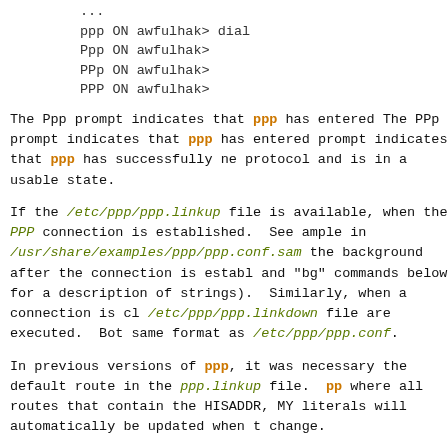...
ppp ON awfulhak> dial
Ppp ON awfulhak>
PPp ON awfulhak>
PPP ON awfulhak>
The Ppp prompt indicates that ppp has entered The PPp prompt indicates that ppp has entered prompt indicates that ppp has successfully ne protocol and is in a usable state.
If the /etc/ppp/ppp.linkup file is available, when the PPP connection is established. See ample in /usr/share/examples/ppp/ppp.conf.sam the background after the connection is establ and "bg" commands below for a description of strings). Similarly, when a connection is cl /etc/ppp/ppp.linkdown file are executed. Bot same format as /etc/ppp/ppp.conf.
In previous versions of ppp, it was necessary the default route in the ppp.linkup file. pp where all routes that contain the HISADDR, MY literals will automatically be updated when t change.
BACKGROUND DIALING
If you want to establish a connection using p